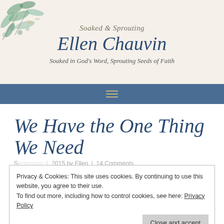[Figure (illustration): Botanical watercolor illustration of green and blue-green leaves in the top-left corner of the header]
Soaked & Sprouting
Ellen Chauvin
Soaked in God's Word, Sprouting Seeds of Faith
[Figure (infographic): Navigation bar with hamburger menu icon in gold color on a steel blue background]
We Have the One Thing We Need
Privacy & Cookies: This site uses cookies. By continuing to use this website, you agree to their use. To find out more, including how to control cookies, see here: Privacy Policy
And He has said to me, "My grace is sufficient for you...." 2 Corinthians 12:9